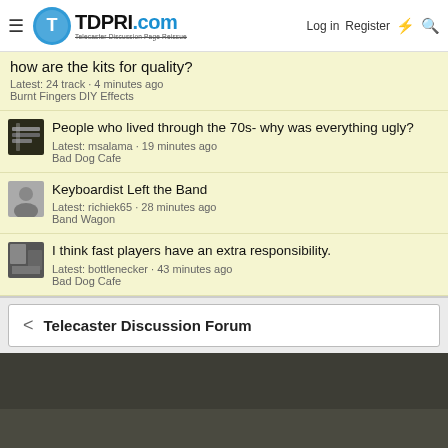TDPRI.com Telecaster Discussion Page Reissue | Log in | Register
how are the kits for quality?
Latest: 24 track · 4 minutes ago
Burnt Fingers DIY Effects
People who lived through the 70s- why was everything ugly?
Latest: msalama · 19 minutes ago
Bad Dog Cafe
Keyboardist Left the Band
Latest: richiek65 · 28 minutes ago
Band Wagon
I think fast players have an extra responsibility.
Latest: bottlenecker · 43 minutes ago
Bad Dog Cafe
< Telecaster Discussion Forum